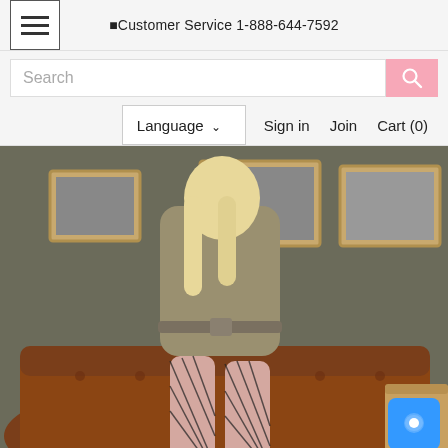Customer Service 1-888-644-7592
Search
Language  Sign in  Join  Cart (0)
[Figure (photo): A woman with blonde hair wearing a belted grey/olive shirt dress and black fishnet stockings, sitting on the arm of a brown leather tufted Chesterfield sofa. Framed pictures hang on a dark grey wall in the background. A blue chat button is visible in the bottom right corner.]